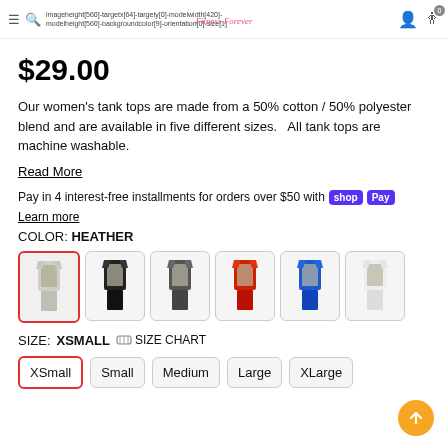imageheight[560]-targetx[64]-targety[0]-modelwidth[420]-modelheight[560]-backgroundcolor[9]-orientation[0]-size[1]
$29.00
Our women's tank tops are made from a 50% cotton / 50% polyester blend and are available in five different sizes.   All tank tops are machine washable.
Read More
Pay in 4 interest-free installments for orders over $50 with shop Pay
Learn more
COLOR: HEATHER
[Figure (other): Six color swatches of tank tops: heather (selected, red border), black, dark grey, red, blue, white]
SIZE: XSMALL  SIZE CHART
XSmall  Small  Medium  Large  XLarge